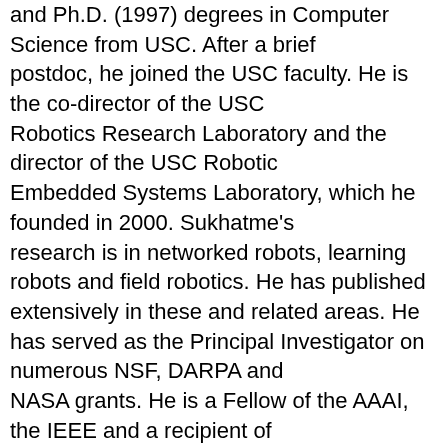and Ph.D. (1997) degrees in Computer Science from USC. After a brief postdoc, he joined the USC faculty. He is the co-director of the USC Robotics Research Laboratory and the director of the USC Robotic Embedded Systems Laboratory, which he founded in 2000. Sukhatme's research is in networked robots, learning robots and field robotics. He has published extensively in these and related areas. He has served as the Principal Investigator on numerous NSF, DARPA and NASA grants. He is a Fellow of the AAAI, the IEEE and a recipient of the NSF CAREER award and the Okawa foundation research award. He was